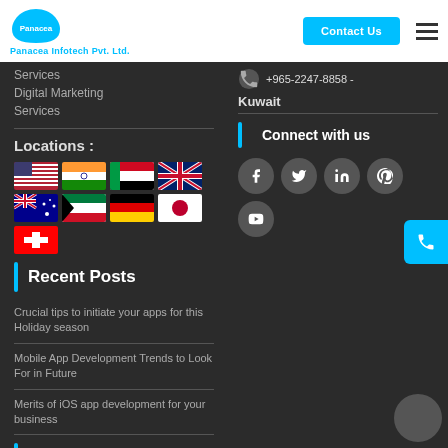Panacea Infotech Pvt. Ltd. | Contact Us
Services
Digital Marketing Services
Locations :
[Figure (illustration): Country flags: USA, India, UAE/Kuwait, UK, Australia, Kuwait, Germany, Japan, Switzerland]
Recent Posts
Crucial tips to initiate your apps for this Holiday season
Mobile App Development Trends to Look For in Future
Merits of iOS app development for your business
+965-2247-8858 - Kuwait
Connect with us
[Figure (infographic): Social media icons: Facebook, Twitter, LinkedIn, Pinterest, YouTube]